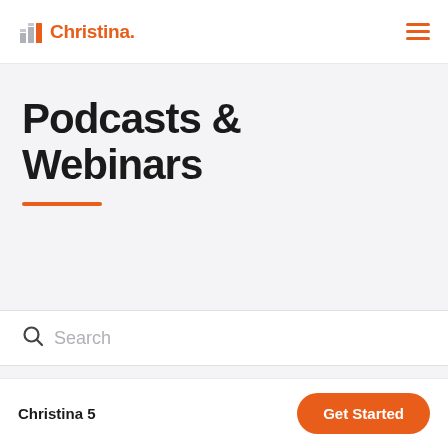Christina.
Podcasts & Webinars
Search
Christina 5  |  Get Started